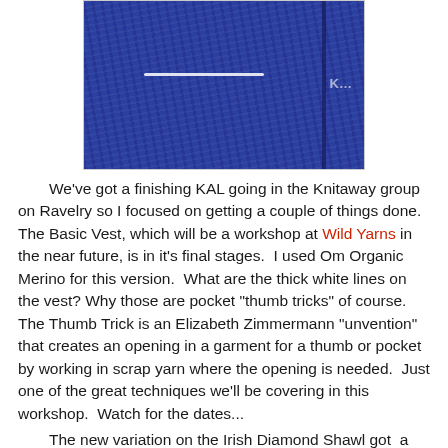[Figure (photo): Close-up photo of blue knitted fabric with a white thumb trick line visible and a dark seam on the right side]
We've got a finishing KAL going in the Knitaway group on Ravelry so I focused on getting a couple of things done.  The Basic Vest, which will be a workshop at Wild Yarns in the near future, is in it's final stages.  I used Om Organic Merino for this version.  What are the thick white lines on the vest? Why those are pocket "thumb tricks" of course.  The Thumb Trick is an Elizabeth Zimmermann "unvention"  that creates an opening in a garment for a thumb or pocket by working in scrap yarn where the opening is needed.  Just one of the great techniques we'll be covering in this workshop.  Watch for the dates...
    The new variation on the Irish Diamond Shawl got  a few rows added, too.  You can hear more about this shawl and cast on your own this Sunday, St Patrick's Day, at the Irish Diamond Shawl Workshop where we'll be knitting to